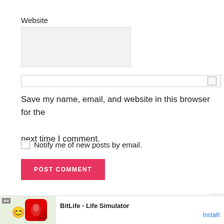Website
[Figure (screenshot): Website input text field (empty, light gray background)]
[Figure (screenshot): Checkbox row with a checkbox on the right side (unchecked)]
Save my name, email, and website in this browser for the next time I comment.
Notify me of new posts by email.
[Figure (screenshot): POST COMMENT button (red/pink background, white text)]
[Figure (screenshot): Close X button in bottom right area]
[Figure (screenshot): Ad banner: BitLife - Life Simulator with Install button]